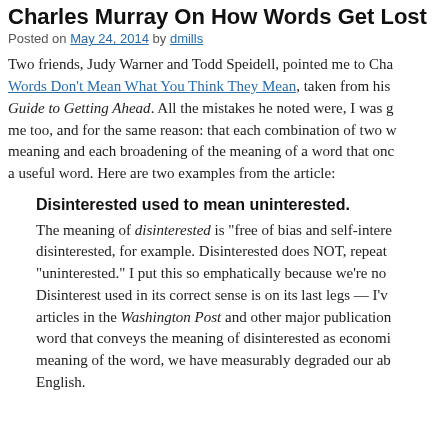Charles Murray On How Words Get Lost
Posted on May 24, 2014 by dmills
Two friends, Judy Warner and Todd Speidell, pointed me to Charles Murray's article Words Don't Mean What You Think They Mean, taken from his book The Curmudgeon's Guide to Getting Ahead. All the mistakes he noted were, I was glad to see, ones that bother me too, and for the same reason: that each combination of two words that used to have separate meaning and each broadening of the meaning of a word that once had a precise meaning destroys a useful word. Here are two examples from the article:
Disinterested used to mean uninterested.
The meaning of disinterested is "free of bias and self-interest." A judge should be disinterested, for example. Disinterested does NOT, repeat NOT, mean "uninterested." I put this so emphatically because we're not talking about nuance here. Disinterest used in its correct sense is on its last legs — I've seen it used incorrectly in articles in the Washington Post and other major publications. When we lose a word that conveys the meaning of disinterested as economists use it, retaining the correct meaning of the word, we have measurably degraded our ability to write and speak precise English.